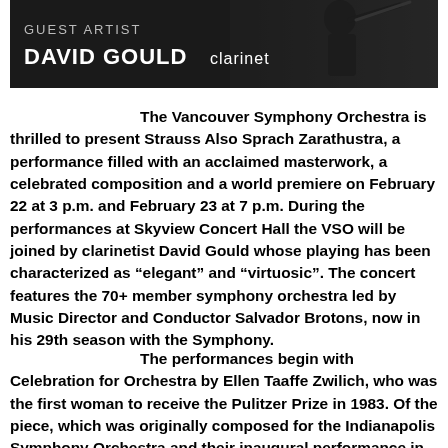[Figure (photo): Dark banner with text 'GUEST ARTIST' above 'DAVID GOULD clarinet' with a silhouette of a person playing clarinet on the right side]
The Vancouver Symphony Orchestra is thrilled to present Strauss Also Sprach Zarathustra, a performance filled with an acclaimed masterwork, a celebrated composition and a world premiere on February 22 at 3 p.m. and February 23 at 7 p.m. During the performances at Skyview Concert Hall the VSO will be joined by clarinetist David Gould whose playing has been characterized as “elegant” and “virtuosic”. The concert features the 70+ member symphony orchestra led by Music Director and Conductor Salvador Brotons, now in his 29th season with the Symphony.
The performances begin with Celebration for Orchestra by Ellen Taaffe Zwilich, who was the first woman to receive the Pulitzer Prize in 1983. Of the piece, which was originally composed for the Indianapolis Symphony Orchestra and their inaugural performance in